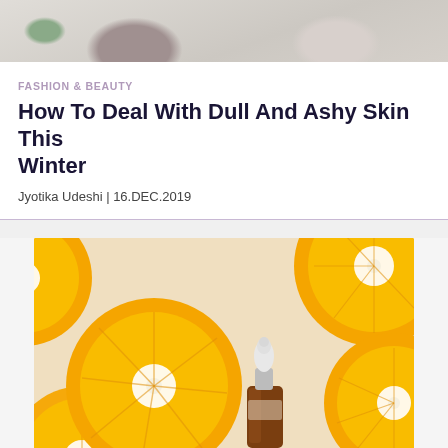[Figure (photo): Top of page: partial photo of skincare/beauty products on a light background]
FASHION & BEAUTY
How To Deal With Dull And Ashy Skin This Winter
Jyotika Udeshi | 16.DEC.2019
[Figure (photo): Photo of sliced oranges arranged on a peach/cream background with a small amber dropper bottle in the center]